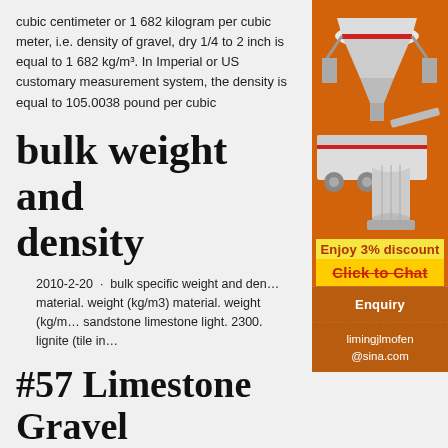cubic centimeter or 1 682 kilogram per cubic meter, i.e. density of gravel, dry 1/4 to 2 inch is equal to 1 682 kg/m³. In Imperial or US customary measurement system, the density is equal to 105.0038 pound per cubic
bulk weight and density
2010-2-20 · bulk specific weight and density material. weight (kg/m3) material. weight (kg/m sandstone limestone light. 2300. lignite (tile in
#57 Limestone Gravel
[Figure (photo): Orange background advertisement showing industrial mining/crushing machinery - cone crusher, mobile crushing plant, and grinding mill equipment]
Enjoy 3% discount
Click to Chat
Enquiry
limingjlmofen@sina.com
About #57 Limestone Gravel #57 Stone is crushed angular Limestone aggregate. Sizes of #57 Stone range from 1/4th to 4in. #57 is one of the most